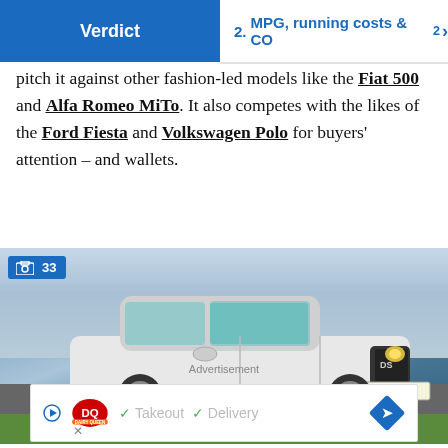Verdict | 2. MPG, running costs & CO2
pitch it against other fashion-led models like the Fiat 500 and Alfa Romeo MiTo. It also competes with the likes of the Ford Fiesta and Volkswagen Polo for buyers' attention – and wallets.
[Figure (photo): White DS3 hatchback car (registration KT65 SSU) photographed on a road with green fields and cloudy sky. Badge showing 33 images in top left corner.]
Advertisement
[Figure (infographic): Dairy Queen advertisement banner with DQ logo, showing Takeout and Delivery options with checkmarks, and a navigation arrow diamond icon.]